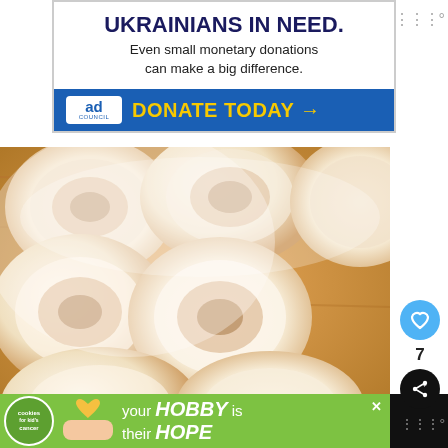[Figure (infographic): Ad Council banner for Ukraine aid: bold text 'UKRAINIANS IN NEED.' with subtext 'Even small monetary donations can make a big difference.' and blue donate bar with yellow 'DONATE TODAY →' button]
[Figure (photo): Close-up photo of frosted cinnamon rolls on a wooden surface, covered in white cream cheese frosting, arranged in a pan]
[Figure (infographic): Cookies for Kid's Cancer ad banner on green background: logo on left, hands holding heart-shaped cookie, text 'your HOBBY is their HOPE']